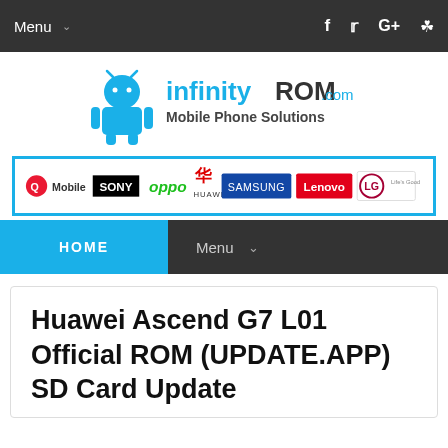Menu
[Figure (logo): infinityROM.com Mobile Phone Solutions logo with Android robot icon]
[Figure (infographic): Brand banner showing logos: QMobile, SONY, oppo, HUAWEI, SAMSUNG, Lenovo, LG]
HOME   Menu
Huawei Ascend G7 L01 Official ROM (UPDATE.APP) SD Card Update